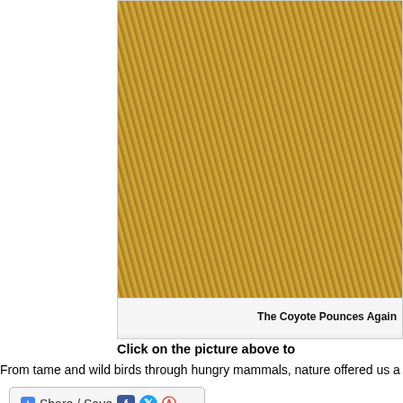[Figure (photo): Close-up photo of dry golden straw/hay with a coyote partially visible, captioned 'The Coyote Pounces Again']
The Coyote Pounces Again
Click on the picture above to
From tame and wild birds through hungry mammals, nature offered us a full d
[Figure (screenshot): Share/Save social media button bar with Facebook, Twitter, and other icons]
NEVER MISS AN UPDATE
Subscribe to my free newsletter “Diabete
I send out my newsletter on first of every month. written and important developments in diabetes g
I also include new photo essays from this blog in